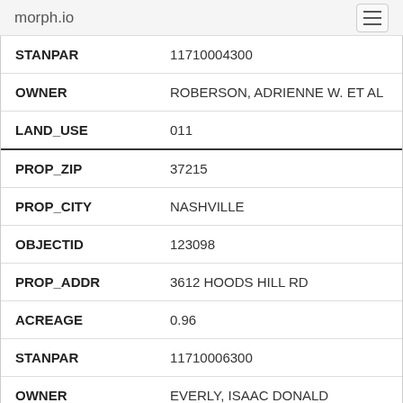morph.io
| STANPAR | 11710004300 |
| OWNER | ROBERSON, ADRIENNE W. ET AL |
| LAND_USE | 011 |
| PROP_ZIP | 37215 |
| PROP_CITY | NASHVILLE |
| OBJECTID | 123098 |
| PROP_ADDR | 3612 HOODS HILL RD |
| ACREAGE | 0.96 |
| STANPAR | 11710006300 |
| OWNER | EVERLY, ISAAC DONALD |
| LAND_USE | 011 |